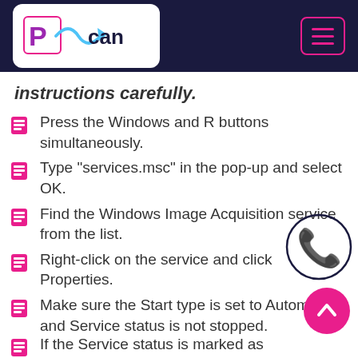PScan [logo with menu button]
instructions carefully.
Press the Windows and R buttons simultaneously.
Type "services.msc" in the pop-up and select OK.
Find the Windows Image Acquisition service from the list.
Right-click on the service and click Properties.
Make sure the Start type is set to Automatic and Service status is not stopped.
If the Service status is marked as...